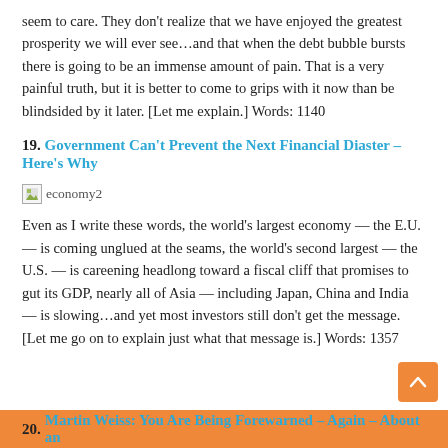seem to care. They don't realize that we have enjoyed the greatest prosperity we will ever see…and that when the debt bubble bursts there is going to be an immense amount of pain. That is a very painful truth, but it is better to come to grips with it now than be blindsided by it later. [Let me explain.] Words: 1140
19. Government Can't Prevent the Next Financial Diaster – Here's Why
[Figure (illustration): Broken image placeholder labeled 'economy2']
Even as I write these words, the world's largest economy — the E.U. — is coming unglued at the seams, the world's second largest — the U.S. — is careening headlong toward a fiscal cliff that promises to gut its GDP, nearly all of Asia — including Japan, China and India — is slowing…and yet most investors still don't get the message. [Let me go on to explain just what that message is.] Words: 1357
20. Martin Weiss: You Are Being Forewarned – Again – About an